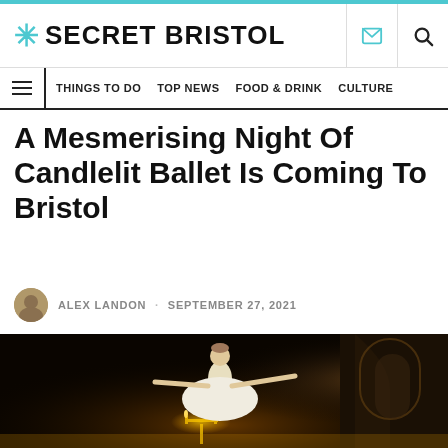SECRET BRISTOL
THINGS TO DO · TOP NEWS · FOOD & DRINK · CULTURE
A Mesmerising Night Of Candlelit Ballet Is Coming To Bristol
ALEX LANDON · SEPTEMBER 27, 2021
[Figure (photo): A ballet dancer in a white tutu performing on a dark stage lit by candelabras, arms outstretched, in front of an ornate building interior]